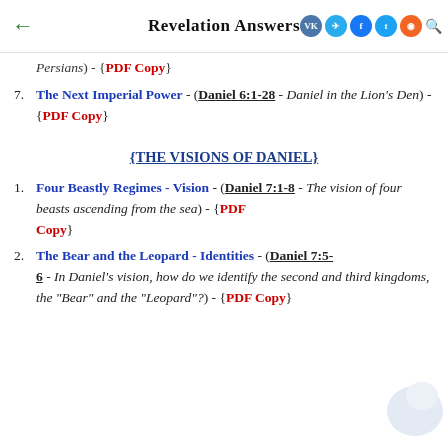Revelation Answers
Persians) - {PDF Copy}
7. The Next Imperial Power - (Daniel 6:1-28 - Daniel in the Lion's Den) - {PDF Copy}
{THE VISIONS OF DANIEL}
1. Four Beastly Regimes - Vision - (Daniel 7:1-8 - The vision of four beasts ascending from the sea) - {PDF Copy}
2. The Bear and the Leopard - Identities - (Daniel 7:5-6 - In Daniel's vision, how do we identify the second and third kingdoms, the "Bear" and the "Leopard"?) - {PDF Copy}